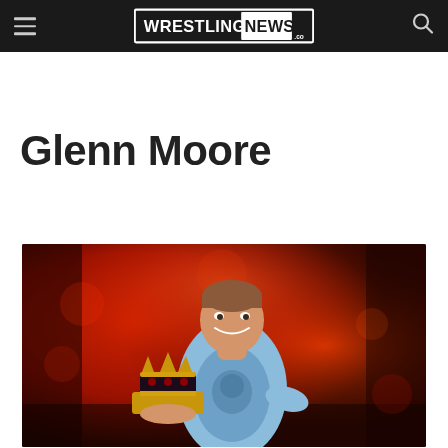Wrestling News
Glenn Moore
[Figure (photo): Man in blue graphic t-shirt holding a black and gold crown, standing in front of a red/orange dramatic background lighting. Appears to be a professional wrestling event.]